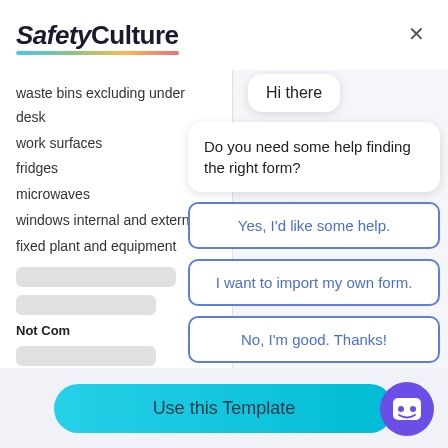[Figure (logo): SafetyCulture logo with multicolor underline]
waste bins excluding under desk
work surfaces
fridges
microwaves
windows internal and external
fixed plant and equipment
Hi there
Do you need some help finding the right form?
Yes, I'd like some help.
I want to import my own form.
Not Com...
No, I'm good. Thanks!
Not Applicable
Use this Template